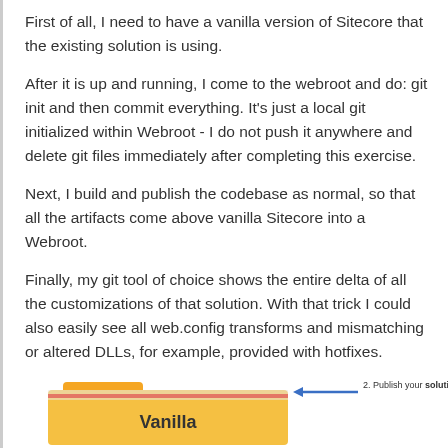First of all, I need to have a vanilla version of Sitecore that the existing solution is using.
After it is up and running, I come to the webroot and do: git init and then commit everything. It's just a local git initialized within Webroot - I do not push it anywhere and delete git files immediately after completing this exercise.
Next, I build and publish the codebase as normal, so that all the artifacts come above vanilla Sitecore into a Webroot.
Finally, my git tool of choice shows the entire delta of all the customizations of that solution. With that trick I could also easily see all web.config transforms and mismatching or altered DLLs, for example, provided with hotfixes.
That trick gives me the overall feel of how much that instance varies from the vanilla one.
[Figure (illustration): Diagram showing a yellow folder labeled 'Vanilla' with an arrow pointing left labeled '2. Publish your solution on top of vanilla Sitecore']